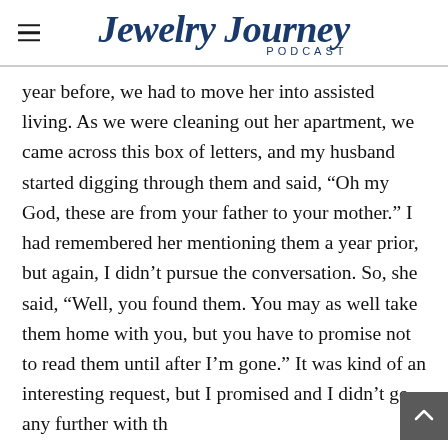Jewelry Journey PODCAST
year before, we had to move her into assisted living. As we were cleaning out her apartment, we came across this box of letters, and my husband started digging through them and said, “Oh my God, these are from your father to your mother.” I had remembered her mentioning them a year prior, but again, I didn’t pursue the conversation. So, she said, “Well, you found them. You may as well take them home with you, but you have to promise not to read them until after I’m gone.” It was kind of an interesting request, but I promised and I didn’t go any further with th…